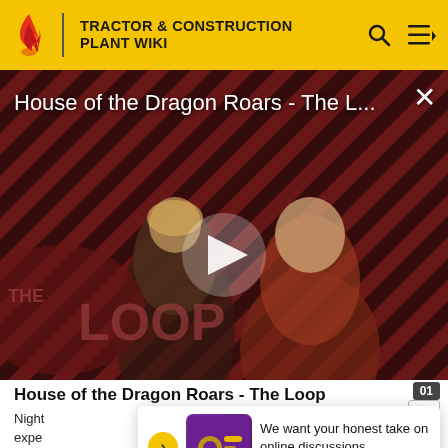TRACTOR & CONSTRUCTION PLANT WIKI
[Figure (screenshot): Video thumbnail for 'House of the Dragon Roars - The L...' showing two characters against a diagonal stripe background with THE LOOP branding and a play button]
House of the Dragon Roars - The Loop
Night... expe... footp... r bon s annu...
We want your honest take on online discussions
SURVEY: ONLINE FORUMS